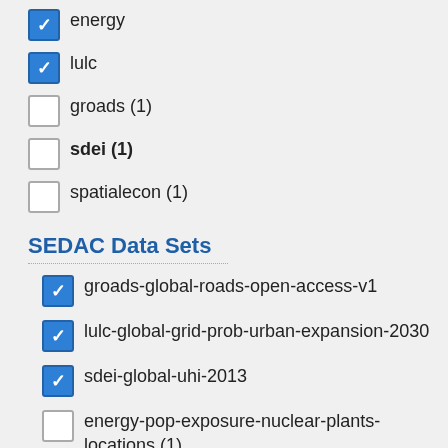energy (checked)
lulc (checked)
groads (1) (unchecked)
sdei (1) (unchecked)
spatialecon (1) (unchecked)
SEDAC Data Sets
groads-global-roads-open-access-v1 (checked)
lulc-global-grid-prob-urban-expansion-2030 (checked)
sdei-global-uhi-2013 (checked)
energy-pop-exposure-nuclear-plants-locations (1) (unchecked)